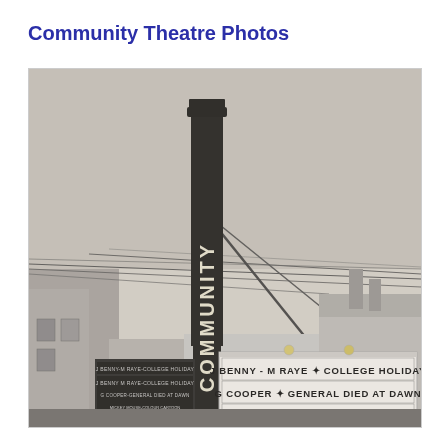Community Theatre Photos
[Figure (photo): Black and white photograph of the Community Theatre exterior. A tall vertical sign reading 'COMMUNITY' is prominent. The marquee shows: 'J BENNY - M RAYE * COLLEGE HOLIDAY', 'G COOPER * GENERAL DIED AT DAWN', 'ALSO MICKEY MOUSE - COLOUR CARTOON'. Surrounding brick buildings and overhead wires are visible.]